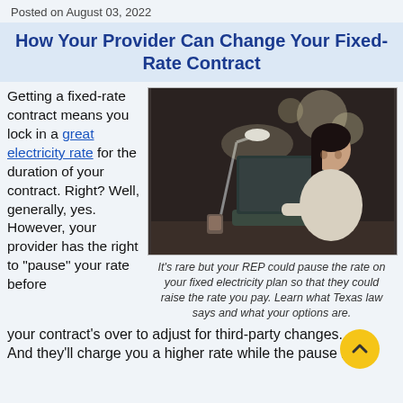Posted on August 03, 2022
How Your Provider Can Change Your Fixed-Rate Contract
Getting a fixed-rate contract means you lock in a great electricity rate for the duration of your contract. Right? Well, generally, yes. However, your provider has the right to “pause” your rate before your contract’s over to adjust for third-party changes. And they’ll charge you a higher rate while the pause lasts
[Figure (photo): Woman sitting at a desk at night working on a laptop under a lamp, with a coffee cup nearby]
It’s rare but your REP could pause the rate on your fixed electricity plan so that they could raise the rate you pay. Learn what Texas law says and what your options are.